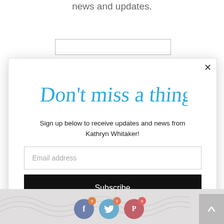news and updates.
[Figure (screenshot): Modal popup with 'Don't miss a thing!' script heading, email signup form with Subscribe button on white background with close X button]
Sign up below to receive updates and news from Kathryn Whitaker!
Email address
Subscribe
[Figure (screenshot): Bottom strip showing social media share icons for Facebook (9), Twitter (2), and Pinterest (9) with a back-to-top arrow button]